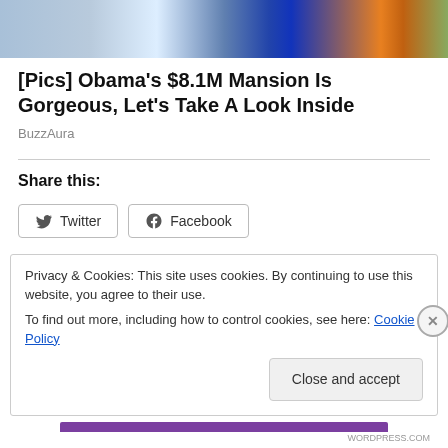[Figure (photo): Cropped photo showing partial figures of people, one in blue clothing and one in a light patterned shirt, with orange and green elements visible at the edge]
[Pics] Obama's $8.1M Mansion Is Gorgeous, Let's Take A Look Inside
BuzzAura
Share this:
Twitter  Facebook
Privacy & Cookies: This site uses cookies. By continuing to use this website, you agree to their use.
To find out more, including how to control cookies, see here: Cookie Policy
Close and accept